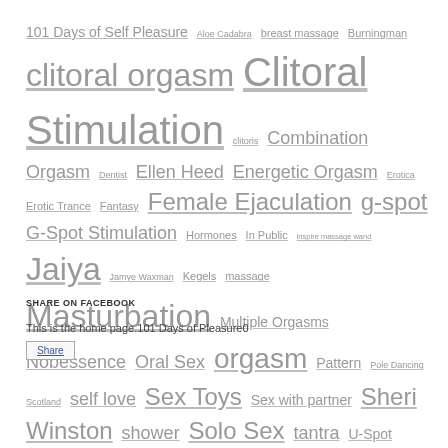101 Days of Self Pleasure Aloe Cadabra breast massage Burningman clitoral orgasm Clitoral Stimulation clitoris Combination Orgasm Dentist Ellen Heed Energetic Orgasm Erotica Erotic Trance Fantasy Female Ejaculation g-spot G-Spot Stimulation Hormones In Public inspire massage wand Jaiya Jamye Waxman Kegels massage Masturbation Multiple Orgasms Nobessence Oral Sex orgasm Pattern Pole Dancing Scotland self love Sex Toys Sex with partner Sheri Winston shower Solo Sex tantra U-Spot Vaginal Orgasm Vajra Yogini Vibrators Wood Yoga
SHARE ON FACEBOOK
This is the home page.101 Days of Pleasure0
Share